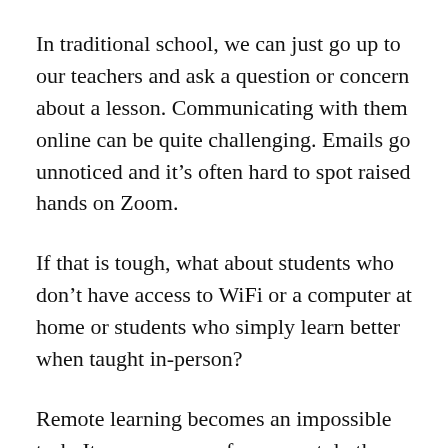In traditional school, we can just go up to our teachers and ask a question or concern about a lesson. Communicating with them online can be quite challenging. Emails go unnoticed and it’s often hard to spot raised hands on Zoom.
If that is tough, what about students who don’t have access to WiFi or a computer at home or students who simply learn better when taught in-person?
Remote learning becomes an impossible task. It means some of us cannot do the work and fall behind for the rest of high